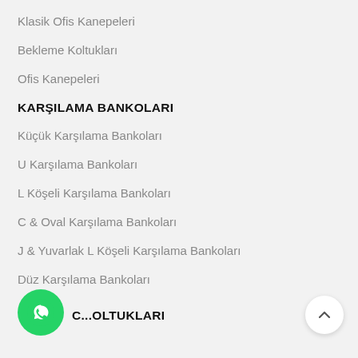Klasik Ofis Kanepeleri
Bekleme Koltukları
Ofis Kanepeleri
KARŞILAMA BANKOLARI
Küçük Karşılama Bankoları
U Karşılama Bankoları
L Köşeli Karşılama Bankoları
C & Oval Karşılama Bankoları
J & Yuvarlak L Köşeli Karşılama Bankoları
Düz Karşılama Bankoları
C...OLTUKLARI